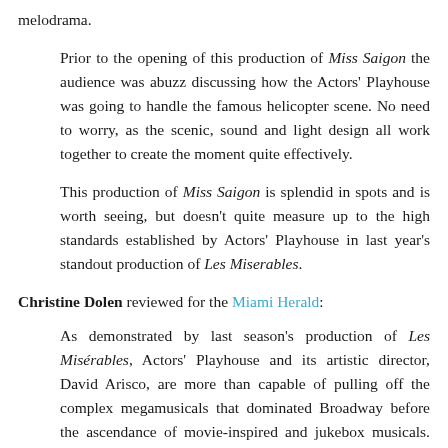melodrama.
Prior to the opening of this production of Miss Saigon the audience was abuzz discussing how the Actors' Playhouse was going to handle the famous helicopter scene. No need to worry, as the scenic, sound and light design all work together to create the moment quite effectively.
This production of Miss Saigon is splendid in spots and is worth seeing, but doesn't quite measure up to the high standards established by Actors' Playhouse in last year's standout production of Les Miserables.
Christine Dolen reviewed for the Miami Herald:
As demonstrated by last season's production of Les Misérables, Actors' Playhouse and its artistic director, David Arisco, are more than capable of pulling off the complex megamusicals that dominated Broadway before the ascendance of movie-inspired and jukebox musicals. And the